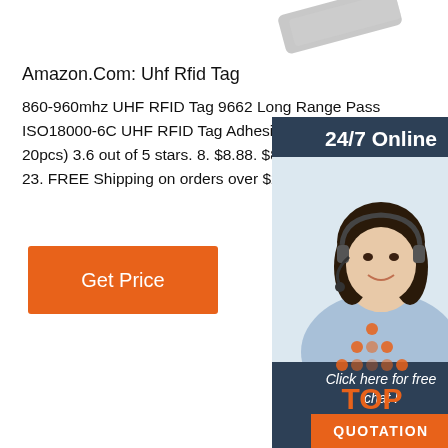[Figure (photo): Partial view of a metallic object at top of page]
Amazon.Com: Uhf Rfid Tag
860-960mhz UHF RFID Tag 9662 Long Range Pass ISO18000-6C UHF RFID Tag Adhesive Inlay RFID L 20pcs) 3.6 out of 5 stars. 8. $8.88. $8. . 88. Get it as 23. FREE Shipping on orders over $25 shipped by A
[Figure (photo): Customer service representative woman with headset, 24/7 Online chat widget with QUOTATION button]
Get Price
[Figure (logo): TOP logo with orange dots arranged in a triangle above the word TOP in orange]